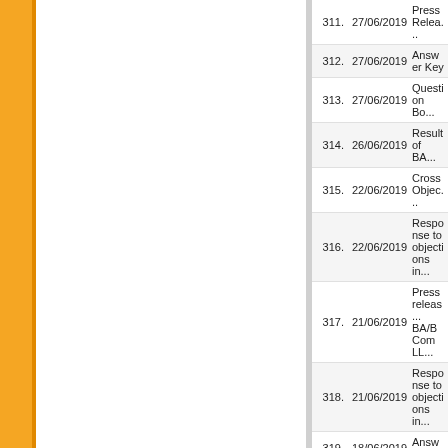| No. | Date | Title |
| --- | --- | --- |
| 311. | 27/06/2019 | Press Relea... |
| 312. | 27/06/2019 | Answer Key |
| 313. | 27/06/2019 | Question Bo... |
| 314. | 26/06/2019 | Result of BA... |
| 315. | 22/06/2019 | Cross Objec... |
| 316. | 22/06/2019 | Response to objections in... |
| 317. | 21/06/2019 | Press releas... BA/BCom LL... |
| 318. | 21/06/2019 | Response to objections in... |
| 319. | 18/06/2019 | Answer Key |
| 320. | 18/06/2019 | Answer Key Course-2019... |
| 321. | 18/06/2019 | Answer Key |
| 322. | 18/06/2019 | Answer Key - 2019 |
| 323. | 18/06/2019 | Question Bo... |
| 324. | 18/06/2019 | Answer Key |